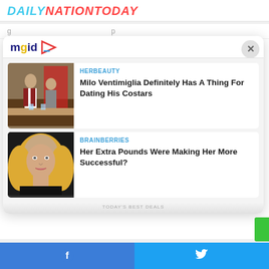DAILYNATIONTODAY
Specifications
Sensor: APS-C, 26.1MP
Video: DCI 4K 60p
[Figure (screenshot): MGID content widget showing two sponsored article cards: 1) HERBEAUTY - Milo Ventimiglia Definitely Has A Thing For Dating His Costars; 2) BRAINBERRIES - Her Extra Pounds Were Making Her More Successful?]
HERBEAUTY
Milo Ventimiglia Definitely Has A Thing For Dating His Costars
BRAINBERRIES
Her Extra Pounds Were Making Her More Successful?
Facebook | Twitter